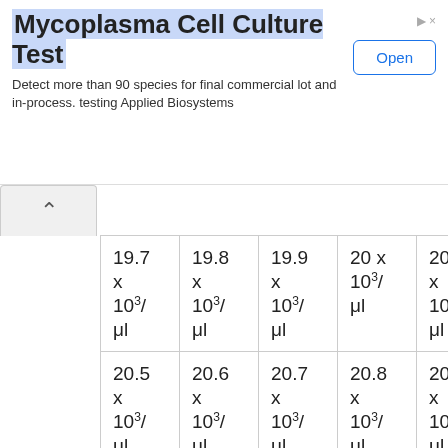[Figure (other): Advertisement banner for Mycoplasma Cell Culture Test by Applied Biosystems with Open button]
| 19.7 x 10³/μl | 19.8 x 10³/μl | 19.9 x 10³/μl | 20 x 10³/μl | 20.1 x 10³/μl | 20.2 x 10³/μl |
| 20.5 x 10³/μl | 20.6 x 10³/μl | 20.7 x 10³/μl | 20.8 x 10³/μl | 20.9 x 10³/μl | 21 x 10³/μl |
| 21.3 x | 21.4 x | 21.5 x | 21.6 x | 21.7 x | 21.8 x |